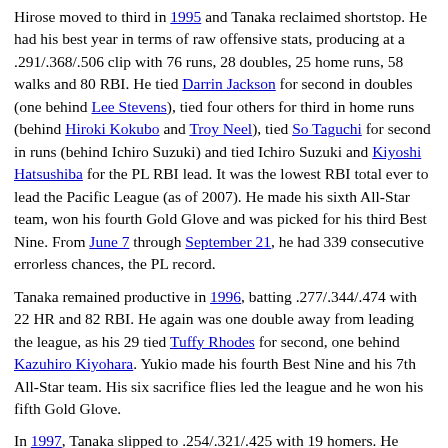Hirose moved to third in 1995 and Tanaka reclaimed shortstop. He had his best year in terms of raw offensive stats, producing at a .291/.368/.506 clip with 76 runs, 28 doubles, 25 home runs, 58 walks and 80 RBI. He tied Darrin Jackson for second in doubles (one behind Lee Stevens), tied four others for third in home runs (behind Hiroki Kokubo and Troy Neel), tied So Taguchi for second in runs (behind Ichiro Suzuki) and tied Ichiro Suzuki and Kiyoshi Hatsushiba for the PL RBI lead. It was the lowest RBI total ever to lead the Pacific League (as of 2007). He made his sixth All-Star team, won his fourth Gold Glove and was picked for his third Best Nine. From June 7 through September 21, he had 339 consecutive errorless chances, the PL record.
Tanaka remained productive in 1996, batting .277/.344/.474 with 22 HR and 82 RBI. He again was one double away from leading the league, as his 29 tied Tuffy Rhodes for second, one behind Kazuhiro Kiyohara. Yukio made his fourth Best Nine and his 7th All-Star team. His six sacrifice flies led the league and he won his fifth Gold Glove.
In 1997, Tanaka slipped to .254/.321/.425 with 19 homers. He made his 8th All-Star team. On August 12, he hit a home run while batting fifth and had thus homered from every spot in the batting order, the 3rd man in NPB history to have done so. The next year, Yukio hit .274/.361/.512 with 24 home runs but was left off of the All-Star team. Tanaka's production had slipped and the second base...